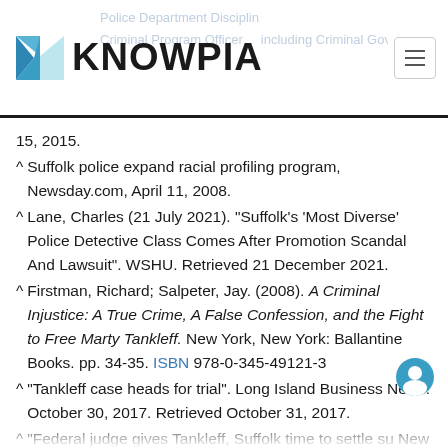KNOWPIA
15, 2015.
^ Suffolk police expand racial profiling program, Newsday.com, April 11, 2008.
^ Lane, Charles (21 July 2021). "Suffolk's 'Most Diverse' Police Detective Class Comes After Promotion Scandal And Lawsuit". WSHU. Retrieved 21 December 2021.
^ Firstman, Richard; Salpeter, Jay. (2008). A Criminal Injustice: A True Crime, A False Confession, and the Fight to Free Marty Tankleff. New York, New York: Ballantine Books. pp. 34-35. ISBN 978-0-345-49121-3
^ "Tankleff case heads for trial". Long Island Business News. October 30, 2017. Retrieved October 31, 2017.
^ "Federal judge gives Tankleff, Suffolk time to settle su New York Newsday. October 30, 2017. Retrieved October 31, 2017.